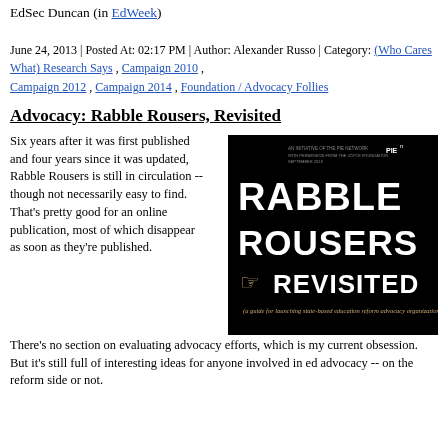EdSec Duncan (in EdWeek)
June 24, 2013 | Posted At: 02:17 PM | Author: Alexander Russo | Category: (Who Cares What) Research Says , Campaign 2010 , Campaign 2012 , Campaign 2014 , Foundation / Advocacy Follies
Advocacy: Rabble Rousers, Revisited
Six years after it was first published and four years since it was updated, Rabble Rousers is still in circulation -- though not necessarily easy to find. That's pretty good for an online publication, most of which disappear as soon as they're published.
[Figure (illustration): Book cover with black background showing large bold white text 'RABBLE ROUSERS REVISITED' with a pointing hand illustration and subtitle text '(a guide for launching state-based education reform advocacy organizations)' and PIE logo in top right corner]
There's no section on evaluating advocacy efforts, which is my current obsession.    But it's still full of interesting ideas for anyone involved in ed advocacy -- on the reform side or not.